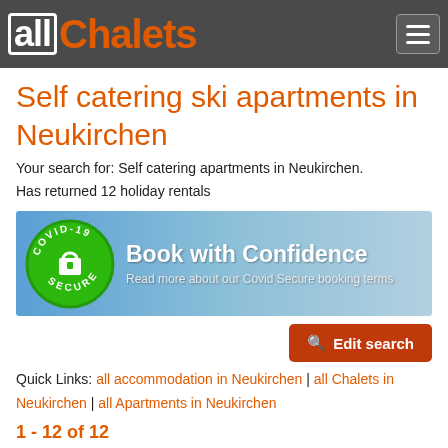allChalets
Self catering ski apartments in Neukirchen
Your search for: Self catering apartments in Neukirchen.
Has returned 12 holiday rentals
[Figure (infographic): Book with Confidence banner with COVID-19 Secure badge and mountain background. Text: Book with Confidence. Read more about our Covid Secure booking terms.]
Edit search
Quick Links: all accommodation in Neukirchen | all Chalets in Neukirchen | all Apartments in Neukirchen
1 - 12 of 12
Default sort